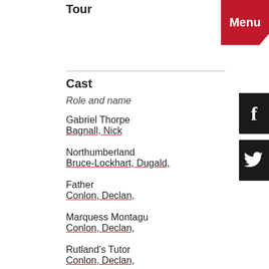Tour
Cast
Role and name
Gabriel Thorpe
Bagnall, Nick
Northumberland
Bruce-Lockhart, Dugald,
Father
Conlon, Declan,
Marquess Montagu
Conlon, Declan,
Rutland's Tutor
Conlon, Declan,
Henry VI
Firth, Jonathan,